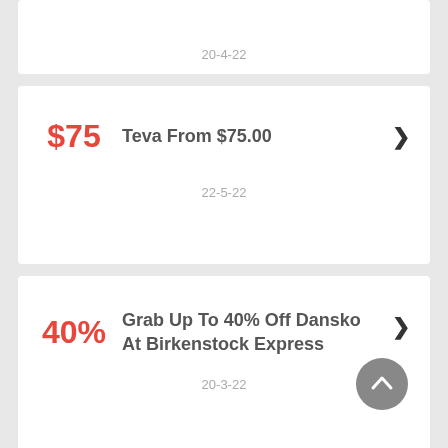20-4-22
$75
Teva From $75.00
22-5-22
40%
Grab Up To 40% Off Dansko At Birkenstock Express
20-3-22
Birkenstock Express